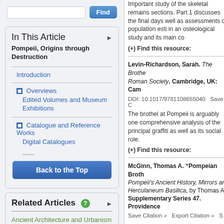Find (search button)
In This Article
Pompeii, Origins through Destruction
Introduction
Overviews
Edited Volumes and Museum Exhibitions
Catalogue and Reference Works
Digital Catalogues
Back to the Top
Related Articles
Ancient Architecture and Urbanism in Western Europe (pre-Roman,
Important study of the skeletal remains sections. Part 1 discusses the final days well as assessments of population estimates in an osteological study and its main conclusions.
(+) Find this resource:
Levin-Richardson, Sarah. The Brothe Roman Society. Cambridge, UK: Cambridge
DOI: 10.1017/9781108655040   Save C
The brothel at Pompeii is arguably one comprehensive analysis of the principal graffiti as well as its social role.
(+) Find this resource:
McGinn, Thomas A. “Pompeian Broth Pompeii’s Ancient History, Mirrors an Herculaneum Basilica, by Thomas A. Supplementary Series 47. Providence
Save Citation »   Export Citation »   S